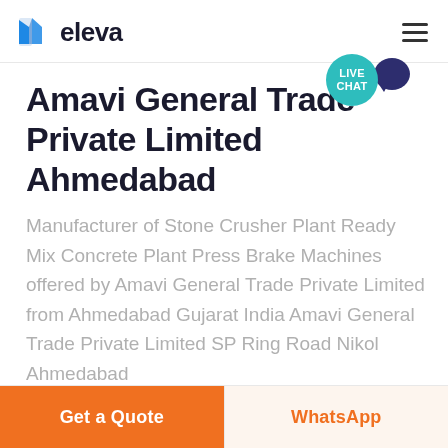eleva
Amavi General Trade Private Limited Ahmedabad
Manufacturer of Stone Crusher Plant Ready Mix Concrete Plant Press Brake Machines offered by Amavi General Trade Private Limited from Ahmedabad Gujarat India Amavi General Trade Private Limited SP Ring Road Nikol Ahmedabad
Get a Quote
WhatsApp